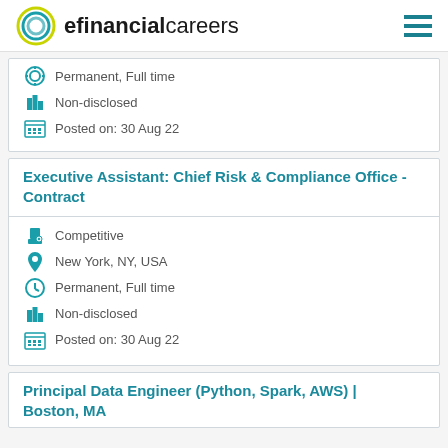efinancialcareers
Permanent, Full time
Non-disclosed
Posted on: 30 Aug 22
Executive Assistant: Chief Risk & Compliance Office - Contract
Competitive
New York, NY, USA
Permanent, Full time
Non-disclosed
Posted on: 30 Aug 22
Principal Data Engineer (Python, Spark, AWS) | Boston, MA